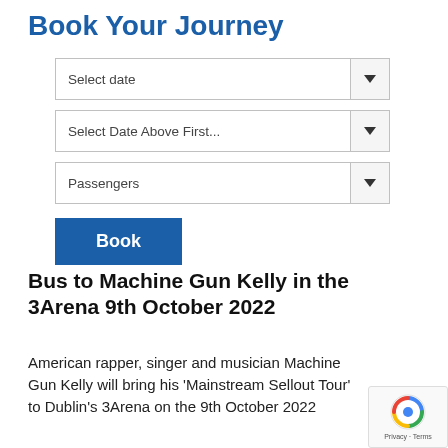Book Your Journey
[Figure (screenshot): Booking form with three dropdown fields: 'Select date', 'Select Date Above First...', 'Passengers', and a blue 'Book' button]
Bus to Machine Gun Kelly in the 3Arena 9th October 2022
American rapper, singer and musician Machine Gun Kelly will bring his 'Mainstream Sellout Tour' to Dublin's 3Arena on the 9th October 2022